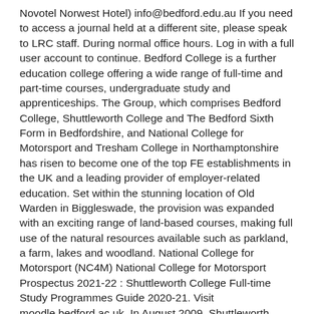Novotel Norwest Hotel) info@bedford.edu.au If you need to access a journal held at a different site, please speak to LRC staff. During normal office hours. Log in with a full user account to continue. Bedford College is a further education college offering a wide range of full-time and part-time courses, undergraduate study and apprenticeships. The Group, which comprises Bedford College, Shuttleworth College and The Bedford Sixth Form in Bedfordshire, and National College for Motorsport and Tresham College in Northamptonshire has risen to become one of the top FE establishments in the UK and a leading provider of employer-related education. Set within the stunning location of Old Warden in Biggleswade, the provision was expanded with an exciting range of land-based courses, making full use of the natural resources available such as parkland, a farm, lakes and woodland. National College for Motorsport (NC4M) National College for Motorsport Prospectus 2021-22 : Shuttleworth College Full-time Study Programmes Guide 2020-21. Visit moodle.bedford.ac.uk. In August 2009, Shuttleworth College became part of Bedford College. Bedford College (Glebe Campus) 54 Parramatta Road, Glebe